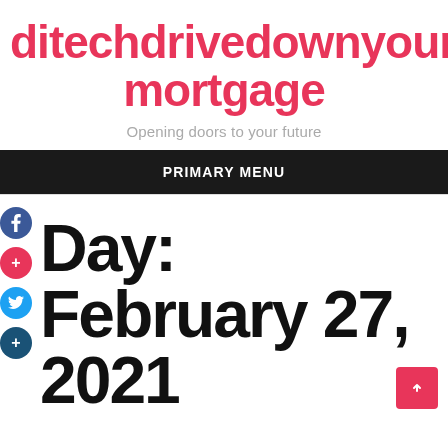ditechdrivedownyour mortgage
Opening doors to your future
PRIMARY MENU
Day: February 27, 2021